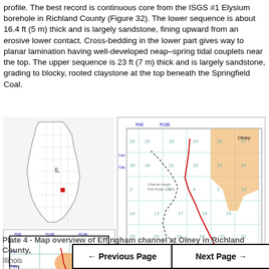profile. The best record is continuous core from the ISGS #1 Elysium borehole in Richland County (Figure 32). The lower sequence is about 16.4 ft (5 m) thick and is largely sandstone, fining upward from an erosive lower contact. Cross-bedding in the lower part gives way to planar lamination having well-developed neap–spring tidal couplets near the top. The upper sequence is 23 ft (7 m) thick and is largely sandstone, grading to blocky, rooted claystone at the top beneath the Springfield Coal.
[Figure (map): Illinois state outline map with a red square marker indicating location in Richland County, in the southern portion of Illinois. Above is a small inset county map showing Richland County with grid lines and a red line indicating the Effingham channel area, with coordinate labels R9E, R10E, R14E, T4N, T3N.]
[Figure (map): Detailed map showing Cross Section of Effingham Channel in Olney Area, Richland County. Grid with numbered township sections, dashed line indicating channel margin from Fish-Potter (1962), solid red line showing channel path, shaded orange area indicating Olney region, blue grid lines with section numbers. Compass rose and scale bar in miles and kilometers shown at lower right.]
Plate 4 - Map overview of Effingham channel at Olney in Richland County, Illinois